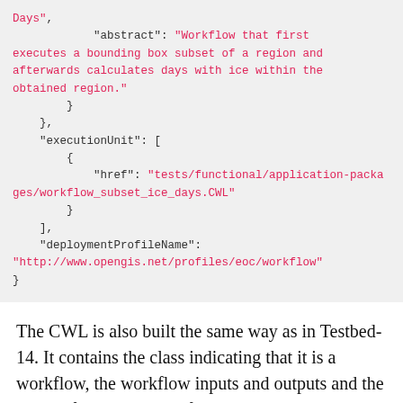Days",
            "abstract": "Workflow that first executes a bounding box subset of a region and afterwards calculates days with ice within the obtained region."
        }
    },
    "executionUnit": [
        {
            "href": "tests/functional/application-packages/workflow_subset_ice_days.CWL"
        }
    ],
    "deploymentProfileName":
"http://www.opengis.net/profiles/eoc/workflow"
}
The CWL is also built the same way as in Testbed-14. It contains the class indicating that it is a workflow, the workflow inputs and outputs and the steps referencing CWL files. This